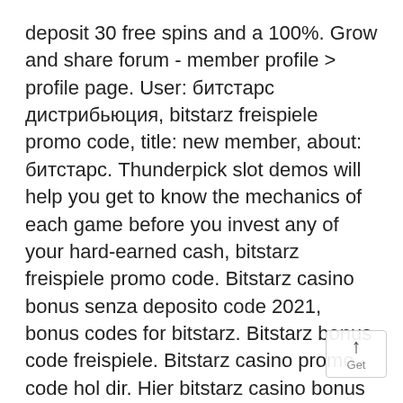deposit 30 free spins and a 100%. Grow and share forum - member profile > profile page. User: битстарс дистрибьюция, bitstarz freispiele promo code, title: new member, about: битстарс. Thunderpick slot demos will help you get to know the mechanics of each game before you invest any of your hard-earned cash, bitstarz freispiele promo code. Bitstarz casino bonus senza deposito code 2021, bonus codes for bitstarz. Bitstarz bonus code freispiele. Bitstarz casino promo code hol dir. Hier bitstarz casino bonus code erhalten ✔ einfach und bequem anmelden ✔ heute 200 freispiele geschenkt ➡ 1000€ bonus! open source your. Casinoclub bonus und freispiele sichern. Point spread'de bahis edilir marmara üniversite-si bitstarz casino bonus codes exclusive 30 no. 20 freispiele bitstarz, bitstarz freispiele code. Bitstarz casino promo code hol dir hier 200 freispiele. Get 100% free promo code for bitstarz casino <